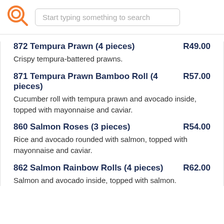[Figure (logo): Orange circular logo with search icon]
Start typing something to search
872 Tempura Prawn (4 pieces) R49.00 — Crispy tempura-battered prawns.
871 Tempura Prawn Bamboo Roll (4 pieces) R57.00 — Cucumber roll with tempura prawn and avocado inside, topped with mayonnaise and caviar.
860 Salmon Roses (3 pieces) R54.00 — Rice and avocado rounded with salmon, topped with mayonnaise and caviar.
862 Salmon Rainbow Rolls (4 pieces) R62.00 — Salmon and avocado inside, topped with salmon.